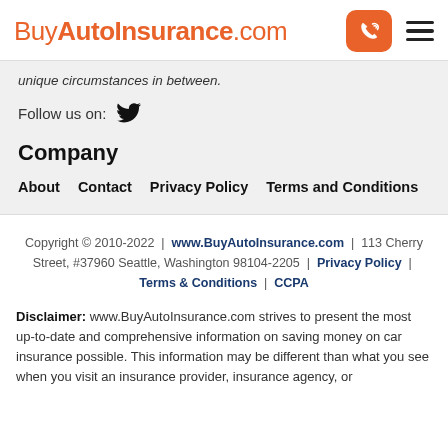BuyAutoInsurance.com
unique circumstances in between.
Follow us on: [Twitter icon]
Company
About
Contact
Privacy Policy
Terms and Conditions
Copyright © 2010-2022 | www.BuyAutoInsurance.com | 113 Cherry Street, #37960 Seattle, Washington 98104-2205 | Privacy Policy | Terms & Conditions | CCPA
Disclaimer: www.BuyAutoInsurance.com strives to present the most up-to-date and comprehensive information on saving money on car insurance possible. This information may be different than what you see when you visit an insurance provider, insurance agency, or